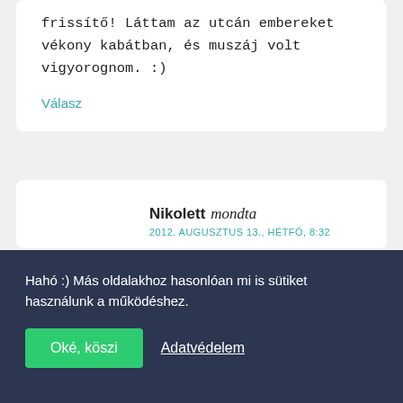frissítő! Láttam az utcán embereket vékony kabátban, és muszáj volt vigyorognom. :)
Válasz
Nikolett mondta
2012. AUGUSZTUS 13., HÉTFŐ, 8:32
Ebéd: fasírozott, vajas törtkrumpli
Stílus: farmer, rózsaszín póló, edzőcipő
Hahó :) Más oldalakhoz hasonlóan mi is sütiket használunk a működéshez.
Oké, köszi   Adatvédelem